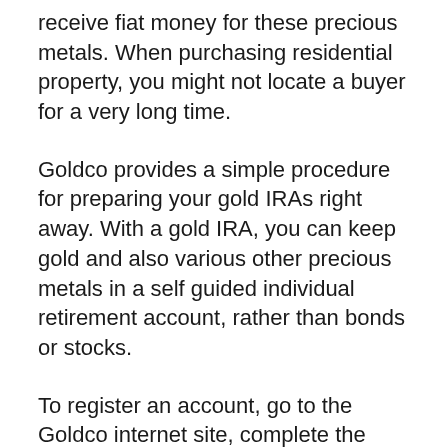receive fiat money for these precious metals. When purchasing residential property, you might not locate a buyer for a very long time.
Goldco provides a simple procedure for preparing your gold IRAs right away. With a gold IRA, you can keep gold and also various other precious metals in a self guided individual retirement account, rather than bonds or stocks.
To register an account, go to the Goldco internet site, complete the application with the needed information, then choose exactly how to deposit into your individual retirement account. Hereafter, you can assign funds to this new account. After